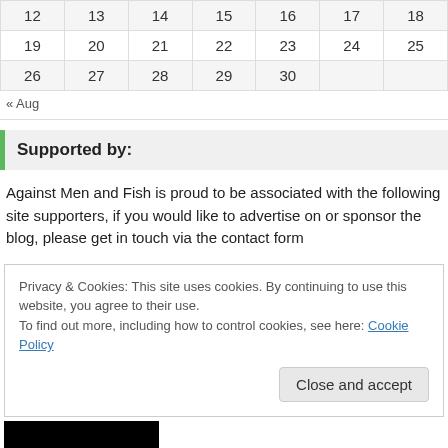| 12 | 13 | 14 | 15 | 16 | 17 | 18 |
| --- | --- | --- | --- | --- | --- | --- |
| 19 | 20 | 21 | 22 | 23 | 24 | 25 |
| 26 | 27 | 28 | 29 | 30 |  |  |
« Aug
Supported by:
Against Men and Fish is proud to be associated with the following site supporters, if you would like to advertise on or sponsor the blog, please get in touch via the contact form
Privacy & Cookies: This site uses cookies. By continuing to use this website, you agree to their use.
To find out more, including how to control cookies, see here: Cookie Policy
Close and accept